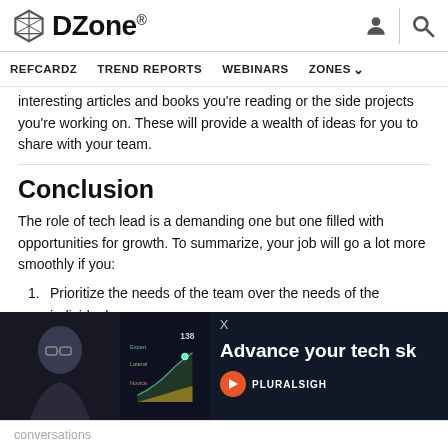DZone — REFCARDZ  TREND REPORTS  WEBINARS  ZONES
interesting articles and books you're reading or the side projects you're working on. These will provide a wealth of ideas for you to share with your team.
Conclusion
The role of tech lead is a demanding one but one filled with opportunities for growth. To summarize, your job will go a lot more smoothly if you:
1. Prioritize the needs of the team over the needs of the individual
2. Manage your time wisely
3. Learn to delegate
[Figure (screenshot): Pluralsight advertisement banner with dark background showing a person wearing glasses and text 'Advance your tech s...' with Pluralsight logo]
conversations